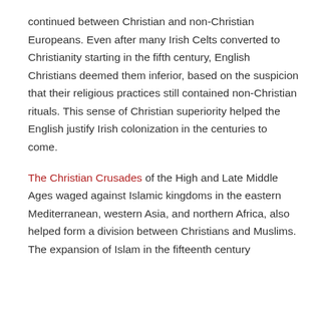continued between Christian and non-Christian Europeans. Even after many Irish Celts converted to Christianity starting in the fifth century, English Christians deemed them inferior, based on the suspicion that their religious practices still contained non-Christian rituals. This sense of Christian superiority helped the English justify Irish colonization in the centuries to come.
The Christian Crusades of the High and Late Middle Ages waged against Islamic kingdoms in the eastern Mediterranean, western Asia, and northern Africa, also helped form a division between Christians and Muslims. The expansion of Islam in the fifteenth century...